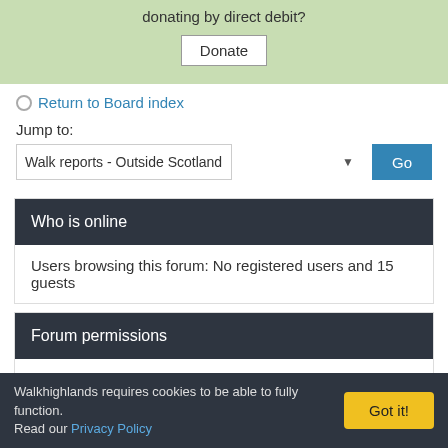[Figure (other): Green donation box with a Donate button]
Return to Board index
Jump to:
Walk reports - Outside Scotland
Who is online
Users browsing this forum: No registered users and 15 guests
Forum permissions
You cannot post new topics in this forum
You cannot reply to topics in this forum
You cannot edit your posts in this forum
Walkhighlands requires cookies to be able to fully function. Read our Privacy Policy